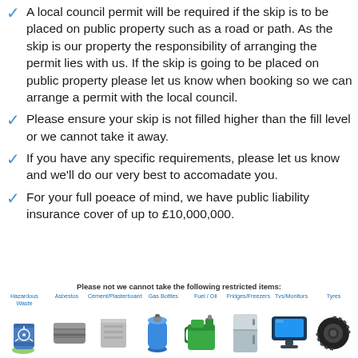A local council permit will be required if the skip is to be placed on public property such as a road or path. As the skip is our property the responsibility of arranging the permit lies with us. If the skip is going to be placed on public property please let us know when booking so we can arrange a permit with the local council.
Please ensure your skip is not filled higher than the fill level or we cannot take it away.
If you have any specific requirements, please let us know and we'll do our very best to accomadate you.
For your full poeace of mind, we have public liability insurance cover of up to £10,000,000.
Please not we cannot take the following restricted items:
[Figure (infographic): Row of 8 restricted item icons with labels: Hazardous Waste, Asbestos, Cement/Plasterboard, Gas Bottles, Fuel / Oil, Fridges/Freezers, Tvs/Monitors, Tyres]